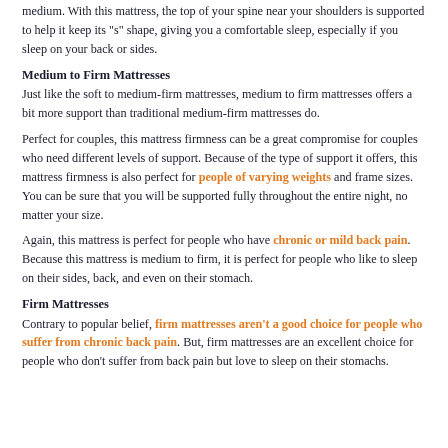medium. With this mattress, the top of your spine near your shoulders is supported to help it keep its "s" shape, giving you a comfortable sleep, especially if you sleep on your back or sides.
Medium to Firm Mattresses
Just like the soft to medium-firm mattresses, medium to firm mattresses offers a bit more support than traditional medium-firm mattresses do.
Perfect for couples, this mattress firmness can be a great compromise for couples who need different levels of support. Because of the type of support it offers, this mattress firmness is also perfect for people of varying weights and frame sizes. You can be sure that you will be supported fully throughout the entire night, no matter your size.
Again, this mattress is perfect for people who have chronic or mild back pain. Because this mattress is medium to firm, it is perfect for people who like to sleep on their sides, back, and even on their stomach.
Firm Mattresses
Contrary to popular belief, firm mattresses aren't a good choice for people who suffer from chronic back pain. But, firm mattresses are an excellent choice for people who don't suffer from back pain but love to sleep on their stomachs.